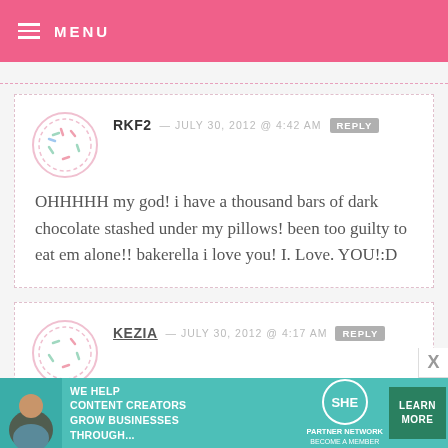MENU
RKF2 — JULY 30, 2012 @ 4:42 AM  REPLY
OHHHHH my god! i have a thousand bars of dark chocolate stashed under my pillows! been too guilty to eat em alone!! bakerella i love you! I. Love. YOU!:D
KEZIA — JULY 30, 2012 @ 4:17 AM  REPLY
[Figure (infographic): Advertisement banner: WE HELP CONTENT CREATORS GROW BUSINESSES THROUGH... SHE PARTNER NETWORK BECOME A MEMBER. LEARN MORE button.]